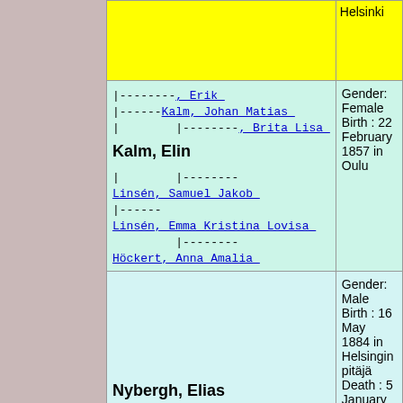| (yellow left cell - partial) | Helsinki |
| tree: Erik, Kalm Johan Matias, Brita Lisa | Kalm, Elin | Linsén Samuel Jakob, Linsén Emma Kristina Lovisa, Höckert Anna Amalia | Gender: Female Birth : 22 February 1857 in Oulu |
| Nybergh, Elias | Gender: Male Birth : 16 May 1884 in Helsingin pitäjä Death : 5 January 1885 in Helsingin pitäjä |
| (partial row) | Ge... |